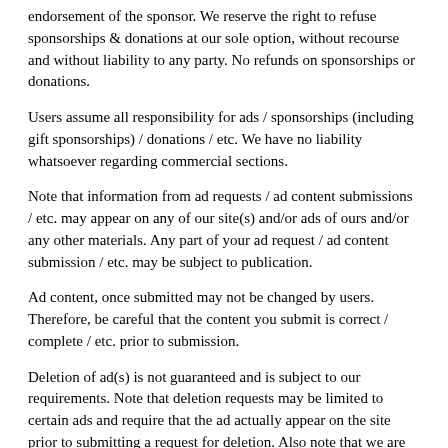endorsement of the sponsor. We reserve the right to refuse sponsorships & donations at our sole option, without recourse and without liability to any party. No refunds on sponsorships or donations.
Users assume all responsibility for ads / sponsorships (including gift sponsorships) / donations / etc. We have no liability whatsoever regarding commercial sections.
Note that information from ad requests / ad content submissions / etc. may appear on any of our site(s) and/or ads of ours and/or any other materials. Any part of your ad request / ad content submission / etc. may be subject to publication.
Ad content, once submitted may not be changed by users. Therefore, be careful that the content you submit is correct / complete / etc. prior to submission.
Deletion of ad(s) is not guaranteed and is subject to our requirements. Note that deletion requests may be limited to certain ads and require that the ad actually appear on the site prior to submitting a request for deletion. Also note that we are unable to honor non-advertiser requests to remove ads which are no longer applicable and that certain ads are not eligible for deletion even by advertisers. We do not guarantee that any deletion request(s) will be honored. We do not guarantee that any ad will be deleted or that any deletion will be 'permanent'. We do not guarantee that any ad will be deleted within any